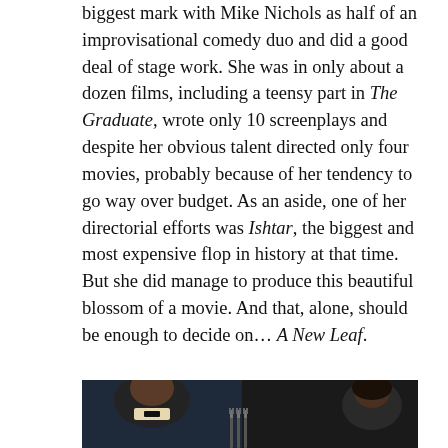biggest mark with Mike Nichols as half of an improvisational comedy duo and did a good deal of stage work. She was in only about a dozen films, including a teensy part in The Graduate, wrote only 10 screenplays and despite her obvious talent directed only four movies, probably because of her tendency to go way over budget. As an aside, one of her directorial efforts was Ishtar, the biggest and most expensive flop in history at that time.
But she did manage to produce this beautiful blossom of a movie. And that, alone, should be enough to decide on… A New Leaf.
[Figure (photo): A still from a film showing a man in a tuxedo on the left and a woman with dark hair on the right, seated at a table with forks visible in the foreground. The scene appears to be from the movie A New Leaf.]